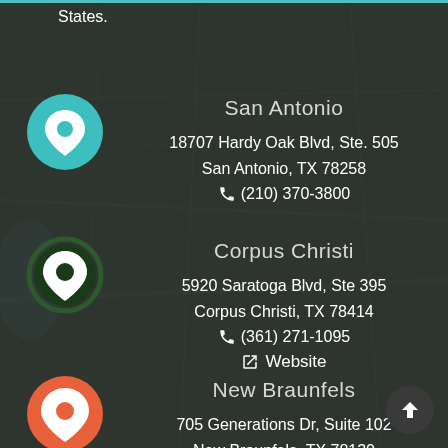States.
[Figure (map): Map background showing Texas region with location pins for San Antonio, Corpus Christi, and New Braunfels]
San Antonio
18707 Hardy Oak Blvd, Ste. 505
San Antonio, TX 78258
(210) 370-3800
Corpus Christi
5920 Saratoga Blvd, Ste 395
Corpus Christi, TX 78414
(361) 271-1095
Website
New Braunfels
705 Generations Dr, Suite 102
New Braunfels, TX 78130
(830) 608-8004